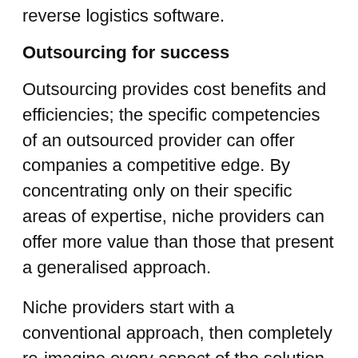what is needed is a focus on returns and the right reverse logistics software.
Outsourcing for success
Outsourcing provides cost benefits and efficiencies; the specific competencies of an outsourced provider can offer companies a competitive edge. By concentrating only on their specific areas of expertise, niche providers can offer more value than those that present a generalised approach.
Niche providers start with a conventional approach, then completely re-imagine every aspect of the solution as though the entire offering was originally conceived and built for each customer. They are uniquely qualified to solve specific challenges while offering flexible solutions. Specialists are just that: experts in their fields. When you have a specific challenge, who would you